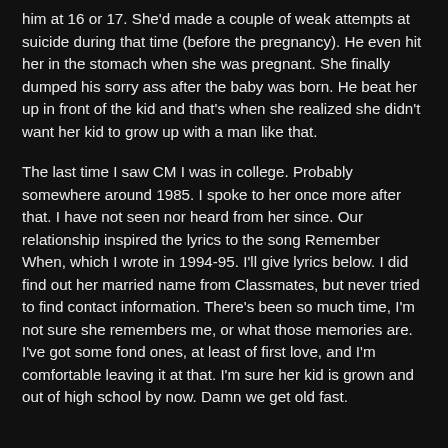him at 16 or 17. She'd made a couple of weak attempts at suicide during that time (before the pregnancy). He even hit her in the stomach when she was pregnant. She finally dumped his sorry ass after the baby was born. He beat her up in front of the kid and that's when she realized she didn't want her kid to grow up with a man like that.
The last time I saw CM I was in college. Probably somewhere around 1985. I spoke to her once more after that. I have not seen nor heard from her since. Our relationship inspired the lyrics to the song Remember When, which I wrote in 1994-95. I'll give lyrics below. I did find out her married name from Classmates, but never tried to find contact information. There's been so much time, I'm not sure she remembers me, or what those memories are. I've got some fond ones, at least of first love, and I'm comfortable leaving it at that. I'm sure her kid is grown and out of high school by now. Damn we get old fast.